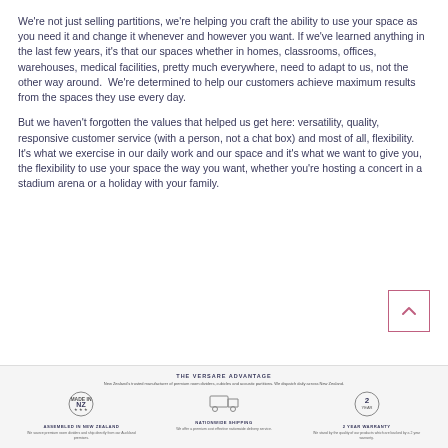We're not just selling partitions, we're helping you craft the ability to use your space as you need it and change it whenever and however you want. If we've learned anything in the last few years, it's that our spaces whether in homes, classrooms, offices, warehouses, medical facilities, pretty much everywhere, need to adapt to us, not the other way around.  We're determined to help our customers achieve maximum results from the spaces they use every day.
But we haven't forgotten the values that helped us get here: versatility, quality, responsive customer service (with a person, not a chat box) and most of all, flexibility. It's what we exercise in our daily work and our space and it's what we want to give you, the flexibility to use your space the way you want, whether you're hosting a concert in a stadium arena or a holiday with your family.
[Figure (infographic): THE VERSARE ADVANTAGE footer banner showing New Zealand's trusted manufacturer of premium room dividers, cubicles and acoustic partitions. Three icons: NZ logo (Assembled in New Zealand), truck icon (Nationwide Shipping), and shield/clock icon (2 Year Warranty) with descriptive text below each.]